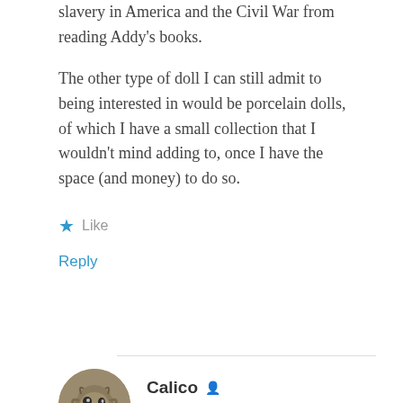slavery in America and the Civil War from reading Addy's books.
The other type of doll I can still admit to being interested in would be porcelain dolls, of which I have a small collection that I wouldn't mind adding to, once I have the space (and money) to do so.
Like
Reply
Calico
OCTOBER 13, 2013 AT 9:39 PM
The American Girls collection I never actually